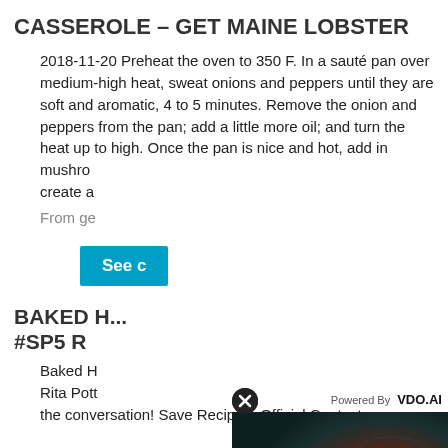CASSEROLE – GET MAINE LOBSTER
2018-11-20 Preheat the oven to 350 F. In a sauté pan over medium-high heat, sweat onions and peppers until they are soft and aromatic, 4 to 5 minutes. Remove the onion and peppers from the pan; add a little more oil; and turn the heat up to high. Once the pan is nice and hot, add in mushrooms... create a...
From ge...
See c...
BAKED H... #SP5 R...
Baked H... Rita Pott... the conversation! Save Recipe – Official Contest